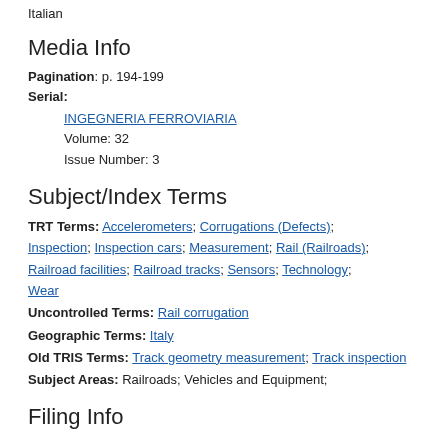Italian
Media Info
Pagination: p. 194-199
Serial:
INGEGNERIA FERROVIARIA
Volume: 32
Issue Number: 3
Subject/Index Terms
TRT Terms: Accelerometers; Corrugations (Defects); Inspection; Inspection cars; Measurement; Rail (Railroads); Railroad facilities; Railroad tracks; Sensors; Technology; Wear
Uncontrolled Terms: Rail corrugation
Geographic Terms: Italy
Old TRIS Terms: Track geometry measurement; Track inspection
Subject Areas: Railroads; Vehicles and Equipment;
Filing Info